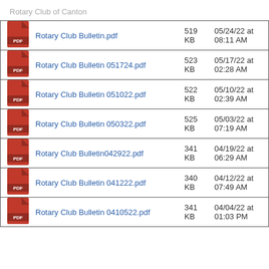Rotary Club of Canton
| Icon | Name | Size | Date |
| --- | --- | --- | --- |
| PDF | Rotary Club Bulletin.pdf | 519 KB | 05/24/22 at 08:11 AM |
| PDF | Rotary Club Bulletin 051724.pdf | 523 KB | 05/17/22 at 02:28 AM |
| PDF | Rotary Club Bulletin 051022.pdf | 522 KB | 05/10/22 at 02:39 AM |
| PDF | Rotary Club Bulletin 050322.pdf | 525 KB | 05/03/22 at 07:19 AM |
| PDF | Rotary Club Bulletin042922.pdf | 341 KB | 04/19/22 at 06:29 AM |
| PDF | Rotary Club Bulletin 041222.pdf | 340 KB | 04/12/22 at 07:49 AM |
| PDF | Rotary Club Bulletin 0410522.pdf | 341 KB | 04/04/22 at 01:03 PM |